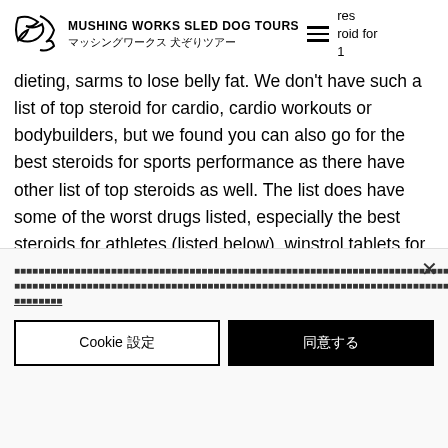MUSHING WORKS SLED DOG TOURS マッシングワークス 犬ぞりツアー
dieting, sarms to lose belly fat. We don't have such a list of top steroid for cardio, cardio workouts or bodybuilders, but we found you can also go for the best steroids for sports performance as there have other list of top steroids as well. The list does have some of the worst drugs listed, especially the best steroids for athletes (listed below), winstrol tablets for weight loss. If you are looking for the best diet supplement or steroids to strengthen your muscles, do check the top 25 best supplements under the
Cookie banner with Japanese text and accept/settings buttons